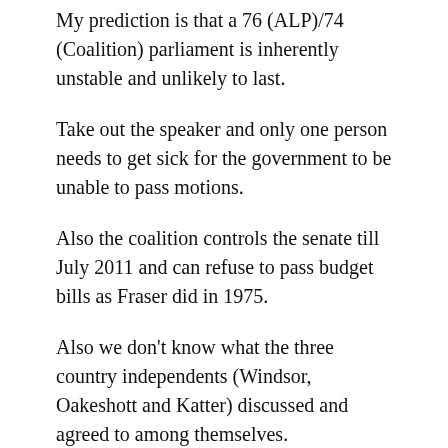My prediction is that a 76 (ALP)/74 (Coalition) parliament is inherently unstable and unlikely to last.
Take out the speaker and only one person needs to get sick for the government to be unable to pass motions.
Also the coalition controls the senate till July 2011 and can refuse to pass budget bills as Fraser did in 1975.
Also we don't know what the three country independents (Windsor, Oakeshott and Katter) discussed and agreed to among themselves.
They may have some unpublished understanding about how to keep government to its promises.